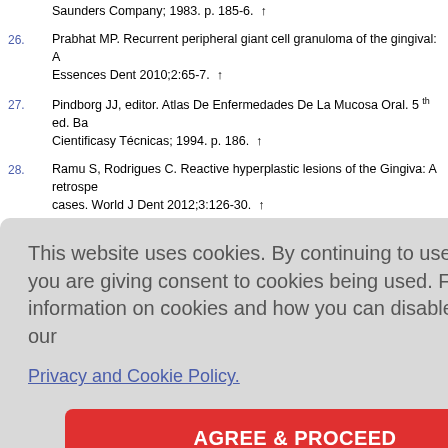Saunders Company; 1983. p. 185-6. ↑
26. Prabhat MP. Recurrent peripheral giant cell granuloma of the gingival: A… Essences Dent 2010;2:65-7. ↑
27. Pindborg JJ, editor. Atlas De Enfermedades De La Mucosa Oral. 5th ed. Ba… Cientificasy Técnicas; 1994. p. 186. ↑
28. Ramu S, Rodrigues C. Reactive hyperplastic lesions of the Gingiva: A retrospe… cases. World J Dent 2012;3:126-30. ↑
29. Goyal R, Kalra D, Aggarwal S. Peripheral giant cell granuloma: A cas… 2011;5:76-7. ↑
[Figure (screenshot): Cookie consent overlay dialog with text 'This website uses cookies. By continuing to use this website you are giving consent to cookies being used. For information on cookies and how you can disable them visit our Privacy and Cookie Policy.' and a red 'AGREE & PROCEED' button.]
… Escudero N… markers. Stu…
… al giant cell … ;14:219-24.
… na. J Oral …
… fying fibrom… Can Dent Assoc 2008;74:809-12. ↑